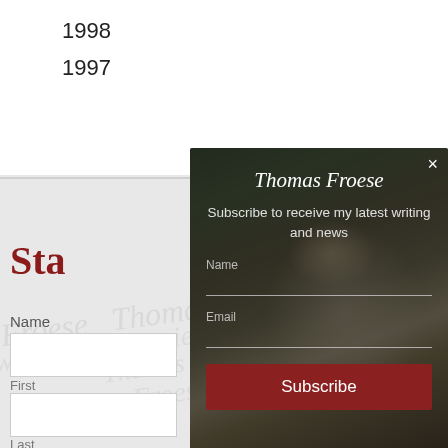1998
1997
Stay … mas
Name
First
Last
Email
[Figure (screenshot): Modal popup overlay on a webpage with a portrait photo background of Thomas Froese. The modal contains: title 'Thomas Froese' in italic script, subtitle 'Subscribe to receive my latest writing and news', Name field, Email field, and a dark red Subscribe button. A close (×) button is in the top right corner.]